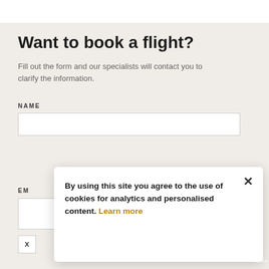Want to book a flight?
Fill out the form and our specialists will contact you to clarify the information.
NAME
EM
X
By using this site you agree to the use of cookies for analytics and personalised content. Learn more
erms